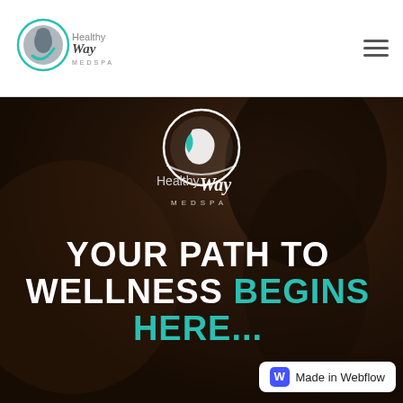[Figure (logo): HealthyWay MedSpa logo in navbar: circular icon with female silhouette, teal and white, with 'HealthyWay MEDSPA' text]
[Figure (photo): Hero section with dark-toned background photo of a person (dimly lit, warm brown tones), with the HealthyWay MedSpa logo centered at top and large headline text below]
YOUR PATH TO WELLNESS BEGINS HERE...
Made in Webflow